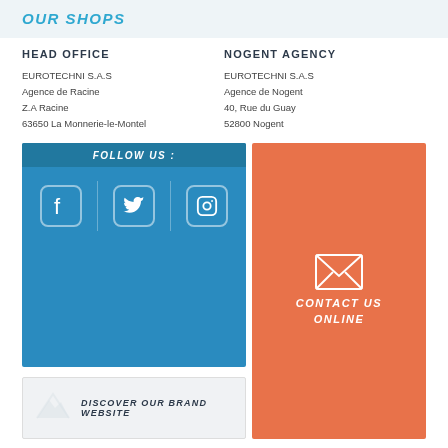OUR SHOPS
HEAD OFFICE
EUROTECHNI S.A.S
Agence de Racine
Z.A Racine
63650 La Monnerie-le-Montel
NOGENT AGENCY
EUROTECHNI S.A.S
Agence de Nogent
40, Rue du Guay
52800 Nogent
[Figure (infographic): Blue box with FOLLOW US header and social media icons: Facebook, Twitter, Instagram]
[Figure (infographic): Orange box with envelope icon and text CONTACT US ONLINE]
[Figure (infographic): Light grey box with paper airplane icon and text DISCOVER OUR BRAND WEBSITE]
Copyright © 2022 EUROTECHNI SAS | Policy of management of the personal data | Legal Notice | Terms of sale |